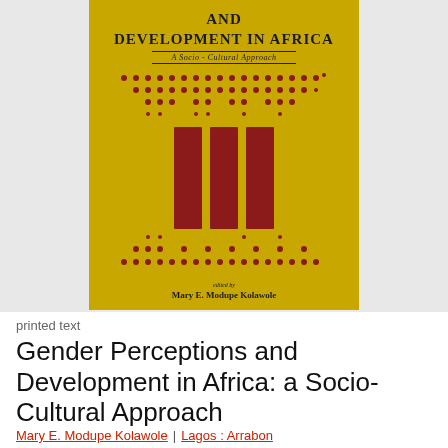[Figure (photo): Book cover of 'Gender Perceptions and Development in Africa: A Socio-Cultural Approach', yellow background with dark red/maroon decorative pillars and dot patterns, edited by Mary E. Modupe Kolawole]
printed text
Gender Perceptions and Development in Africa: a Socio-Cultural Approach
Mary E. Modupe Kolawole | Lagos : Arrabon